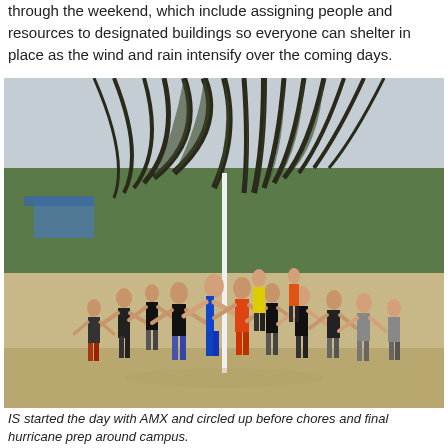through the weekend, which include assigning people and resources to designated buildings so everyone can shelter in place as the wind and rain intensify over the coming days.
[Figure (photo): Group of young people in athletic wear standing in a large circle on a sandy beach area, holding hands around a central pole, with palm trees and tropical landscape in the background under an overcast sky.]
IS started the day with AMX and circled up before chores and final hurricane prep around campus.